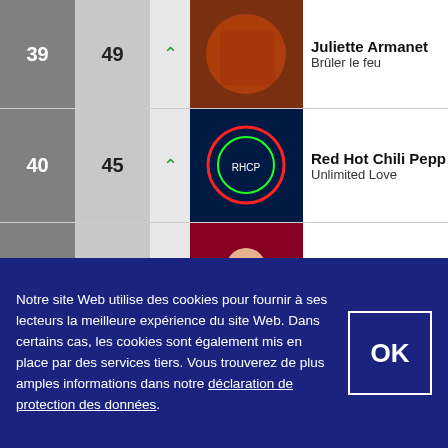| Rank | Score | Trend | Cover | Artist / Album |
| --- | --- | --- | --- | --- |
| 39 | 49 | ↑ | [image] | Juliette Armanet / Brûler le feu |
| 40 | 45 | ↑ | [image] | Red Hot Chili Peppers / Unlimited Love |
| 41 | 23 | ↓ | [image] | Rosalía / Motomami |
| 42 | 19 | ↓ | [image] | Arcade Fire / WE |
| 43 | 39 | ↓ | [image] | Bad Bunny / Un verano sin ti |
| 44 | 44 | → | [image] | SDM / Ocho |
| 45 | 38 | ↓ | [image] | Ziak / Akimbo |
Notre site Web utilise des cookies pour fournir à ses lecteurs la meilleure expérience du site Web. Dans certains cas, les cookies sont également mis en place par des services tiers. Vous trouverez de plus amples informations dans notre déclaration de protection des données.